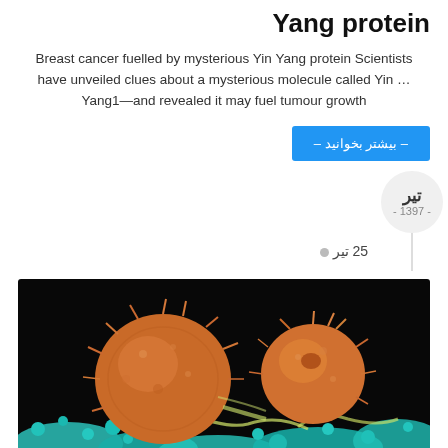Yang protein
Breast cancer fuelled by mysterious Yin Yang protein Scientists have unveiled clues about a mysterious molecule called Yin …Yang1—and revealed it may fuel tumour growth
– بیشتر بخوانید –
تیر
- 1397 -
25 تیر
[Figure (photo): Microscopic image of cancer cells (orange/brown spherical cells with spiky surfaces) on a teal/green background, shown under electron microscopy]